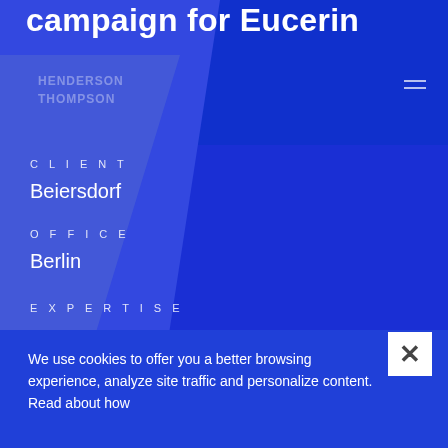campaign for Eucerin
CLIENT
Beiersdorf
OFFICE
Berlin
EXPERTISE
Commerce
We use cookies to offer you a better browsing experience, analyze site traffic and personalize content. Read about how